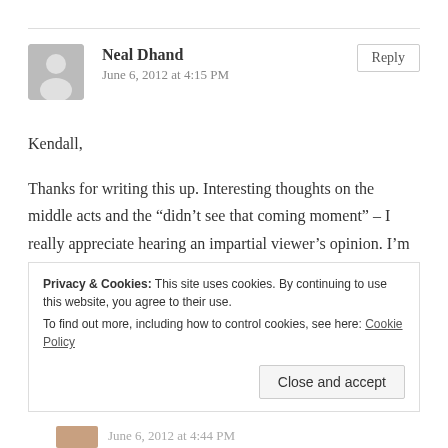[Figure (illustration): Gray avatar silhouette icon for user Neal Dhand]
Neal Dhand
June 6, 2012 at 4:15 PM
Reply
Kendall,
Thanks for writing this up. Interesting thoughts on the middle acts and the “did’t see that coming moment” – I really appreciate hearing an impartial viewer’s opinion. I’m sure you would have loved to see the various rough cuts that we attempted on it.
Thanks for coming out to the screening, and take care.
Privacy & Cookies: This site uses cookies. By continuing to use this website, you agree to their use.
To find out more, including how to control cookies, see here: Cookie Policy
Close and accept
June 6, 2012 at 4:44 PM